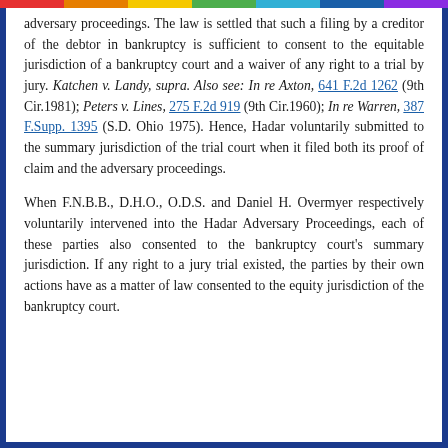adversary proceedings. The law is settled that such a filing by a creditor of the debtor in bankruptcy is sufficient to consent to the equitable jurisdiction of a bankruptcy court and a waiver of any right to a trial by jury. Katchen v. Landy, supra. Also see: In re Axton, 641 F.2d 1262 (9th Cir.1981); Peters v. Lines, 275 F.2d 919 (9th Cir.1960); In re Warren, 387 F.Supp. 1395 (S.D. Ohio 1975). Hence, Hadar voluntarily submitted to the summary jurisdiction of the trial court when it filed both its proof of claim and the adversary proceedings.
When F.N.B.B., D.H.O., O.D.S. and Daniel H. Overmyer respectively voluntarily intervened into the Hadar Adversary Proceedings, each of these parties also consented to the bankruptcy court's summary jurisdiction. If any right to a jury trial existed, the parties by their own actions have as a matter of law consented to the equity jurisdiction of the bankruptcy court.